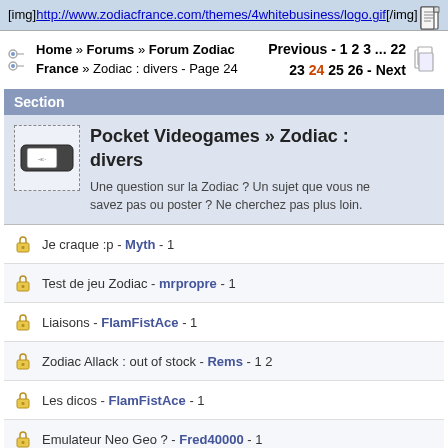[img]http://www.zodiacfrance.com/themes/4whitebusiness/logo.gif[/img]
Home » Forums » Forum Zodiac France » Zodiac : divers - Page 24   Previous - 1 2 3 ... 22 23 24 25 26 - Next
Section
Pocket Videogames » Zodiac : divers — Une question sur la Zodiac ? Un sujet que vous ne savez pas ou poster ? Ne cherchez pas plus loin.
Je craque :p - Myth - 1
Test de jeu Zodiac - mrpropre - 1
Liaisons - FlamFistAce - 1
Zodiac Allack : out of stock - Rems - 1 2
Les dicos - FlamFistAce - 1
Emulateur Neo Geo ? - Fred40000 - 1
Hard Reset & Sauvegarde - FlamFistAce - 1